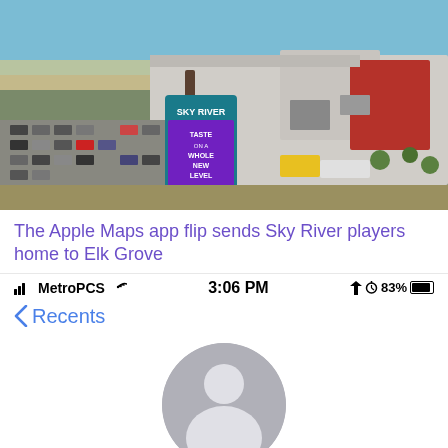[Figure (photo): Aerial/drone view of Sky River Casino building and parking lot with a large illuminated sign reading SKY RIVER and TASTE ON A WHOLE NEW LEVEL, desert landscape in background]
The Apple Maps app flip sends Sky River players home to Elk Grove
MetroPCS  3:06 PM  83%
< Recents
[Figure (illustration): Generic user silhouette avatar icon, gray circle with person outline]